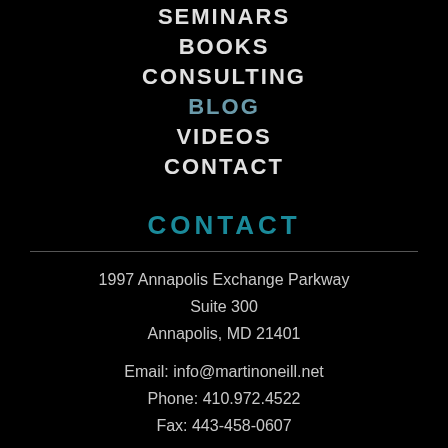SEMINARS
BOOKS
CONSULTING
BLOG
VIDEOS
CONTACT
CONTACT
1997 Annapolis Exchange Parkway
Suite 300
Annapolis, MD 21401
Email: info@martinoneill.net
Phone: 410.972.4522
Fax: 443-458-0607